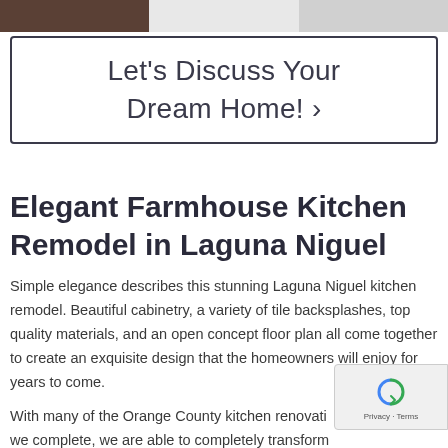[Figure (photo): Strip of three kitchen remodel photos at top of page showing dark wood flooring, white cabinetry, and partial view]
Let's Discuss Your Dream Home!  >
Elegant Farmhouse Kitchen Remodel in Laguna Niguel
Simple elegance describes this stunning Laguna Niguel kitchen remodel. Beautiful cabinetry, a variety of tile backsplashes, top quality materials, and an open concept floor plan all come together to create an exquisite design that the homeowners will enjoy for years to come.
With many of the Orange County kitchen renovations we complete, we are able to completely transform the look and feel of the space without making